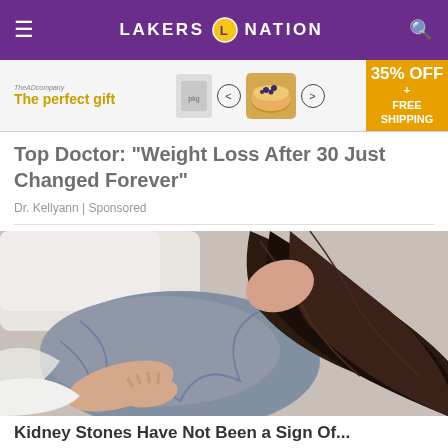LAKERS NATION
[Figure (other): Advertisement banner: 'The perfect gift' with food bowl product image, navigation arrows, and '35% OFF + FREE SHIPPING' badge]
Top Doctor: "Weight Loss After 30 Just Changed Forever"
Dr. Kellyann | Sponsored
[Figure (photo): Woman lying on bed in grey clothing, hands on stomach, dark curly hair spread out]
Kidney Stones Have Not Been a Sign Of...